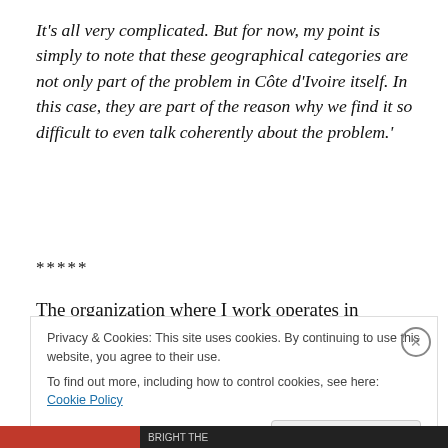It's all very complicated. But for now, my point is simply to note that these geographical categories are not only part of the problem in Côte d'Ivoire itself. In this case, they are part of the reason why we find it so difficult to even talk coherently about the problem.'
*****
The organization where I work operates in Liberia, and so I've been getting updates about the situation on the Cote
Privacy & Cookies: This site uses cookies. By continuing to use this website, you agree to their use.
To find out more, including how to control cookies, see here: Cookie Policy
Close and accept